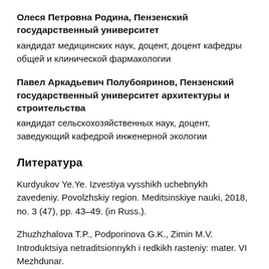Олеся Петровна Родина, Пензенский государственный университет
кандидат медицинских наук, доцент, доцент кафедры общей и клинической фармакологии
Павел Аркадьевич Полубояринов, Пензенский государственный университет архитектуры и строительства
кандидат сельскохозяйственных наук, доцент, заведующий кафедрой инженерной экологии
Литература
Kurdyukov Ye.Ye. Izvestiya vysshikh uchebnykh zavedeniy. Povolzhskiy region. Meditsinskiye nauki, 2018, no. 3 (47), pp. 43–49. (in Russ.).
Zhuzhzhalova T.P., Podporinova G.K., Zimin M.V. Introduktsiya netraditsionnykh i redkikh rasteniy: mater. VI Mezhdunar.